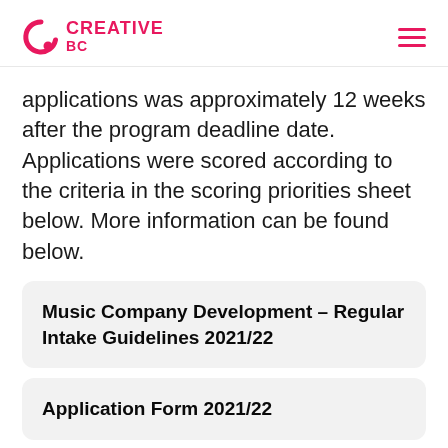CREATIVE BC
applications was approximately 12 weeks after the program deadline date. Applications were scored according to the criteria in the scoring priorities sheet below. More information can be found below.
Music Company Development - Regular Intake Guidelines 2021/22
Application Form 2021/22